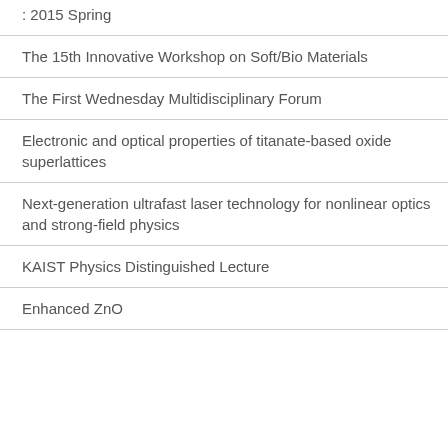: 2015 Spring
The 15th Innovative Workshop on Soft/Bio Materials
The First Wednesday Multidisciplinary Forum
Electronic and optical properties of titanate-based oxide superlattices
Next-generation ultrafast laser technology for nonlinear optics and strong-field physics
KAIST Physics Distinguished Lecture
Enhanced ZnO